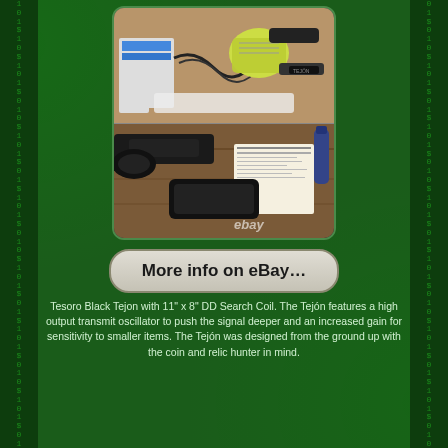[Figure (photo): Photo of Tesoro Black Tejon metal detector and accessories in an open box, shown from above. Two panel image: top shows detector coil and accessories in packing box; bottom shows detector components with documents, with eBay watermark.]
More info on eBay...
Tesoro Black Tejon with 11" x 8" DD Search Coil. The Tejón features a high output transmit oscillator to push the signal deeper and an increased gain for sensitivity to smaller items. The Tejón was designed from the ground up with the coin and relic hunter in mind.